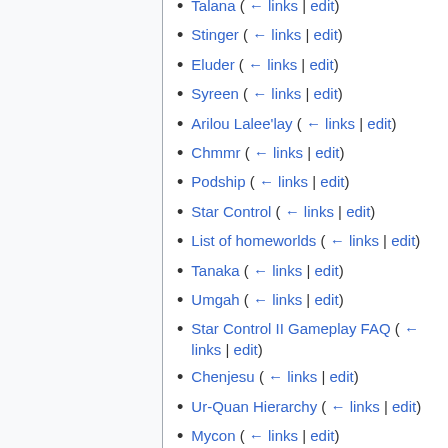Talana ( ← links | edit)
Stinger ( ← links | edit)
Eluder ( ← links | edit)
Syreen ( ← links | edit)
Arilou Lalee'lay ( ← links | edit)
Chmmr ( ← links | edit)
Podship ( ← links | edit)
Star Control ( ← links | edit)
List of homeworlds ( ← links | edit)
Tanaka ( ← links | edit)
Umgah ( ← links | edit)
Star Control II Gameplay FAQ ( ← links | edit)
Chenjesu ( ← links | edit)
Ur-Quan Hierarchy ( ← links | edit)
Mycon ( ← links | edit)
Battle Thrall ( ← links | edit)
Penetrator ( ← links | edit)
Sphere of Influence ( ← links | edit)